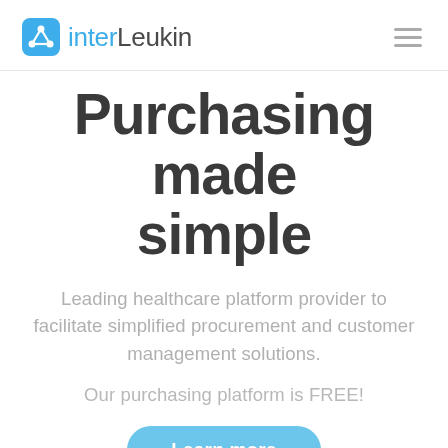interLeukin
Purchasing made simple
Leading healthcare platform provider to facilitate simplified procurement and customer management solutions.
Our purchasing platform is FREE!
Learn more